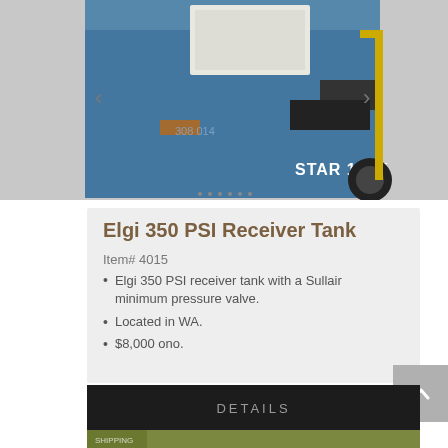[Figure (photo): Blue industrial air compressor truck with STAR 185K branding, partial view showing the side panel and wheel]
Elgi 350 PSI Receiver Tank
Item# 4015
Elgi 350 PSI receiver tank with a Sullair minimum pressure valve.
Located in WA.
$8,000 ono.
DETAILS
[Figure (photo): Partial view of outdoor industrial machinery/equipment scene]